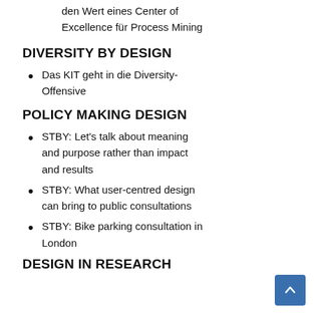den Wert eines Center of Excellence für Process Mining
DIVERSITY BY DESIGN
Das KIT geht in die Diversity-Offensive
POLICY MAKING DESIGN
STBY: Let's talk about meaning and purpose rather than impact and results
STBY: What user-centred design can bring to public consultations
STBY: Bike parking consultation in London
DESIGN IN RESEARCH